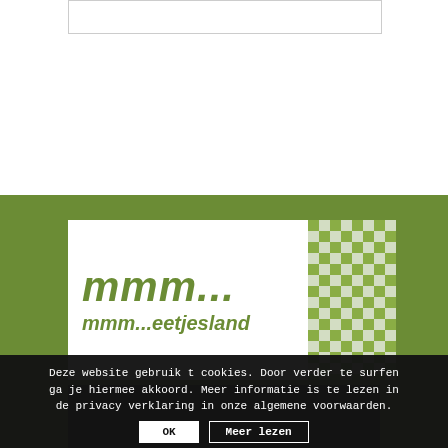[Figure (logo): mmm...eetjesland logo with green italic text on white background and green checkered pattern on right side]
CONTACT
mmm...eetjesland vzw
Leemweg 24, 9900 Eeklo
Tel: 09/ 379 ...
Mail: info@mmm-eetjesland.be
Deze website gebruikt cookies. Door verder te surfen ga je hiermee akkoord. Meer informatie is te lezen in de privacy verklaring in onze algemene voorwaarden.
OK
Meer lezen